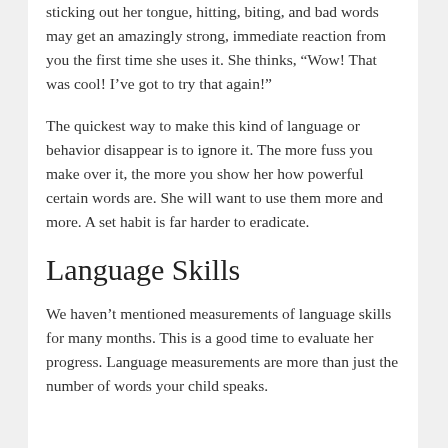sticking out her tongue, hitting, biting, and bad words may get an amazingly strong, immediate reaction from you the first time she uses it. She thinks, “Wow! That was cool! I’ve got to try that again!”
The quickest way to make this kind of language or behavior disappear is to ignore it. The more fuss you make over it, the more you show her how powerful certain words are. She will want to use them more and more. A set habit is far harder to eradicate.
Language Skills
We haven’t mentioned measurements of language skills for many months. This is a good time to evaluate her progress. Language measurements are more than just the number of words your child speaks.